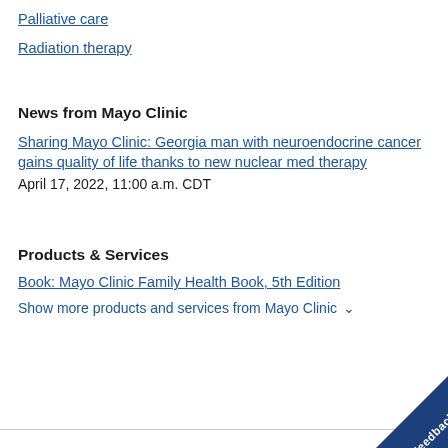Palliative care
Radiation therapy
News from Mayo Clinic
Sharing Mayo Clinic: Georgia man with neuroendocrine cancer gains quality of life thanks to new nuclear med therapy
April 17, 2022, 11:00 a.m. CDT
Products & Services
Book: Mayo Clinic Family Health Book, 5th Edition
Show more products and services from Mayo Clinic